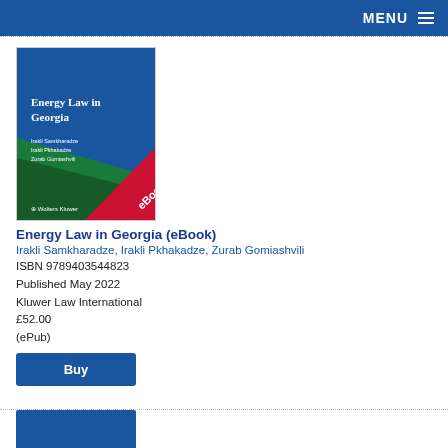MENU
[Figure (illustration): Book cover of 'Energy Law in Georgia' eBook published by Wolters Kluwer, with blue and green design and a red eBook ribbon banner.]
Energy Law in Georgia (eBook)
Irakli Samkharadze, Irakli Pkhakadze, Zurab Gomiashvili
ISBN 9789403544823
Published May 2022
Kluwer Law International
£52.00
(ePub)